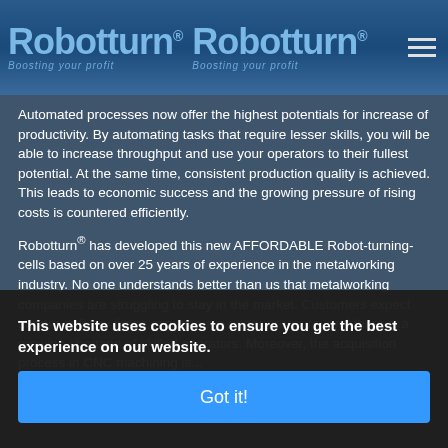[Figure (logo): Robotturn logo with tagline 'Boosting your profit', repeated twice side by side, with hamburger menu icon on the right]
Automated processes now offer the highest potentials for increase of productivity. By automating tasks that require lesser skills, you will be able to increase throughput and use your operators to their fullest potential. At the same time, consistent production quality is achieved. This leads to economic success and the growing pressure of rising costs is countered efficiently.
Robotturn® has developed this new AFFORDABLE Robot-turning-cells based on over 25 years of experience in the metalworking industry. No one understands better than us that metalworking companies are struggling to stay in the market. Customers expect shorter delivery times, margins are under pressure, and there is a growing shortage of skilled operators. Moreover, the acquisition process in CNC machining is...
This website uses cookies to ensure you get the best experience on our website.
Got it!